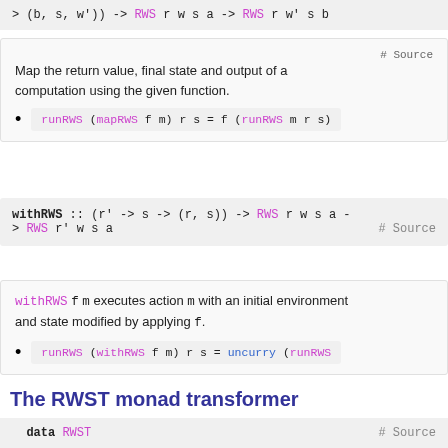Map the return value, final state and output of a computation using the given function.
withRWS f m executes action m with an initial environment and state modified by applying f.
The RWST monad transformer